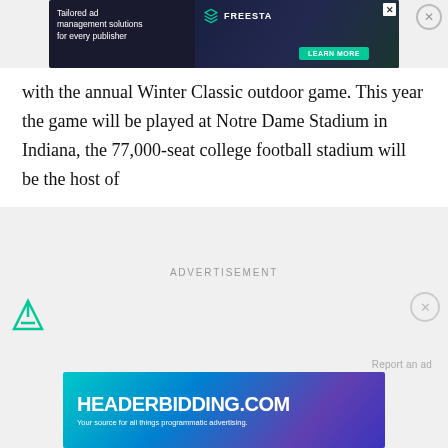[Figure (screenshot): Top advertisement banner for Freestar: dark background with text 'Tailored ad management solutions for every publisher', Freestar logo, and 'Learn More' button]
with the annual Winter Classic outdoor game. This year the game will be played at Notre Dame Stadium in Indiana, the 77,000-seat college football stadium will be the host of
ADVERTISEMENT
[Figure (logo): Freestar/ad network icon (teal triangle filter icon) at bottom left]
Report an ad
[Figure (screenshot): Bottom advertisement banner for HEADERBIDDING.COM: 'Your source for all things programmatic advertising.' on colorful gradient background]